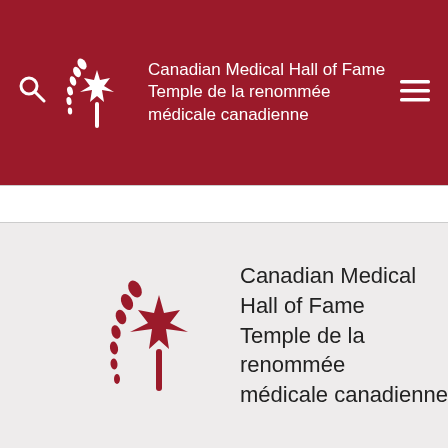Canadian Medical Hall of Fame / Temple de la renommée médicale canadienne
[Figure (logo): Canadian Medical Hall of Fame logo — maple leaf with wheat stalk, white on dark red background, in navigation header]
[Figure (logo): Canadian Medical Hall of Fame logo — maple leaf with wheat stalk, dark red on light grey background, in footer section with full organization name in English and French]